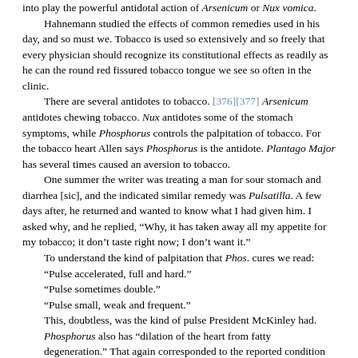into play the powerful antidotal action of Arsenicum or Nux vomica.
Hahnemann studied the effects of common remedies used in his day, and so must we. Tobacco is used so extensively and so freely that every physician should recognize its constitutional effects as readily as he can the round red fissured tobacco tongue we see so often in the clinic.
There are several antidotes to tobacco. [376][377] Arsenicum antidotes chewing tobacco. Nux antidotes some of the stomach symptoms, while Phosphorus controls the palpitation of tobacco. For the tobacco heart Allen says Phosphorus is the antidote. Plantago Major has several times caused an aversion to tobacco.
One summer the writer was treating a man for sour stomach and diarrhea [sic], and the indicated similar remedy was Pulsatilla. A few days after, he returned and wanted to know what I had given him. I asked why, and he replied, “Why, it has taken away all my appetite for my tobacco; it don’t taste right now; I don’t want it.”
To understand the kind of palpitation that Phos. cures we read:
“Pulse accelerated, full and hard.”
“Pulse sometimes double.”
“Pulse small, weak and frequent.”
This, doubtless, was the kind of pulse President McKinley had.
Phosphorus also has “dilation of the heart from fatty degeneration.” That again corresponded to the reported condition of the dead President’s heart.
Digitalis also causes rapid heart, but it does not antidote tobacco. Woodward says that Tabacum affects the sensory organs first, then the circulatory, spinal, digestive and the genito-urinary system. While Digitalis is not similar, it affects, first, the sensory organs, then the